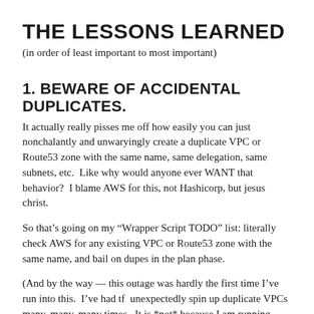THE LESSONS LEARNED
(in order of least important to most important)
1. BEWARE OF ACCIDENTAL DUPLICATES.
It actually really pisses me off how easily you can just nonchalantly and unwaryingly create a duplicate VPC or Route53 zone with the same name, same delegation, same subnets, etc.  Like why would anyone ever WANT that behavior?  I blame AWS for this, not Hashicorp, but jesus christ.
So that’s going on my “Wrapper Script TODO” list: literally check AWS for any existing VPC or Route53 zone with the same name, and bail on dupes in the plan phase.
(And by the way — this outage was hardly the first time I’ve run into this.  I’ve had tf  unexpectedly spin up duplicate VPCs many, many, many times.  It is *not* because I am running apply from the wrong directory, I’ve checked for any telltale